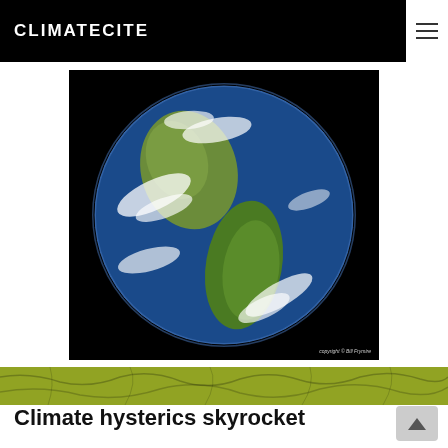CLIMATECITE
[Figure (photo): Satellite photograph of Earth showing North America and South America with blue oceans and white clouds. Black background. Copyright © Bill Frymire watermark in lower right.]
[Figure (photo): Green cracked ground / dry earth texture strip]
Climate hysterics skyrocket